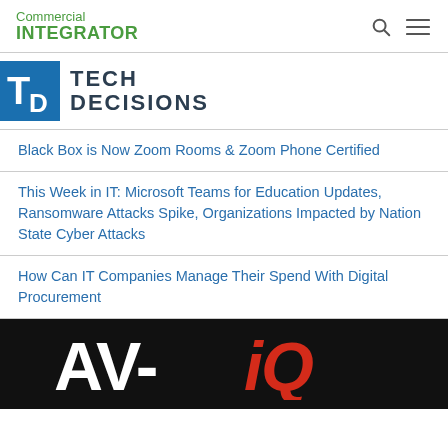Commercial INTEGRATOR
[Figure (logo): Tech Decisions logo: blue square with TD letters, followed by TECH DECISIONS text in dark bold]
Black Box is Now Zoom Rooms & Zoom Phone Certified
This Week in IT: Microsoft Teams for Education Updates, Ransomware Attacks Spike, Organizations Impacted by Nation State Cyber Attacks
How Can IT Companies Manage Their Spend With Digital Procurement
[Figure (logo): AV-iQ logo on black background: white AV- text and red italic iQ text]